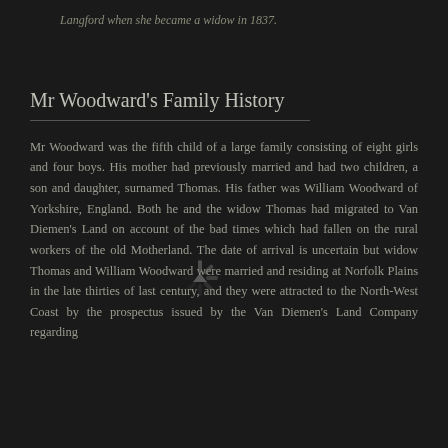Langford when she became a widow in 1837.
Mr Woodward's Family History
Mr Woodward was the fifth child of a large family consisting of eight girls and four boys. His mother had previously married and had two children, a son and daughter, surnamed Thomas. His father was William Woodward of Yorkshire, England. Both he and the widow Thomas had migrated to Van Diemen's Land on account of the bad times which had fallen on the rural workers of the old Motherland. The date of arrival is uncertain but widow Thomas and William Woodward were married and residing at Norfolk Plains in the late thirties of last century, and they were attracted to the North-West Coast by the prospectus issued by the Van Diemen's Land Company regarding